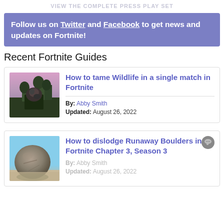VIEW THE COMPLETE PRESS PLAY SET
Follow us on Twitter and Facebook to get news and updates on Fortnite!
Recent Fortnite Guides
[Figure (photo): Thumbnail image showing a Fortnite character with wildlife in a forest at dusk]
How to tame Wildlife in a single match in Fortnite
By: Abby Smith
Updated: August 26, 2022
[Figure (photo): Thumbnail image showing a large boulder in Fortnite Chapter 3, Season 3]
How to dislodge Runaway Boulders in Fortnite Chapter 3, Season 3
By: Abby Smith
Updated: August 26, 2022